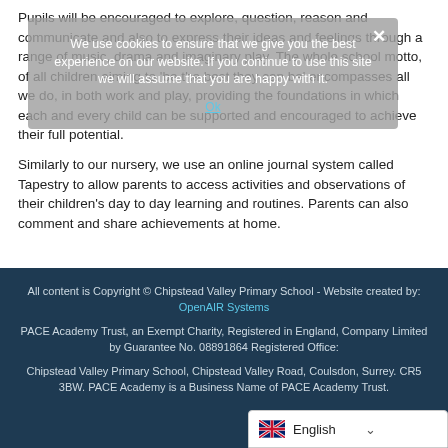Pupils will be encouraged to explore, question, reason and communicate and also to express their ideas and feelings through a range of music, drama and imaginary play. The whole school motto, of all children aiming to 'be the best they can be' encompasses all we do, in both work and play, providing the foundations in which each and every child can be supported and encouraged to achieve their full potential.
We use cookies to ensure that we give you the best experience on our website. If you continue to use this site we will assume that you are happy with it.
Similarly to our nursery, we use an online journal system called Tapestry to allow parents to access activities and observations of their children's day to day learning and routines. Parents can also comment and share achievements at home.
All content is Copyright © Chipstead Valley Primary School - Website created by: OpenAIR Systems
PACE Academy Trust, an Exempt Charity, Registered in England, Company Limited by Guarantee No. 08891864 Registered Office:
Chipstead Valley Primary School, Chipstead Valley Road, Coulsdon, Surrey. CR5 3BW. PACE Academy is a Business Name of PACE Academy Trust.